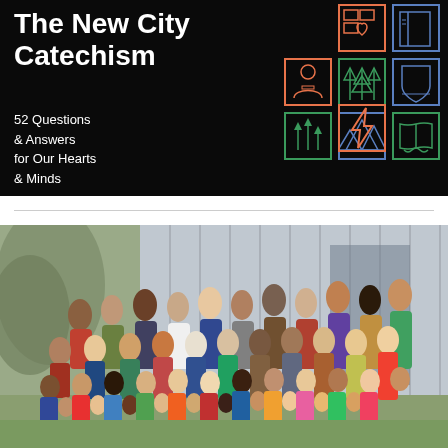[Figure (illustration): Book cover of 'The New City Catechism' with dark background, white title text, subtitle '52 Questions & Answers for Our Hearts & Minds', and a grid of 8 icon boxes in orange, green, and blue outlines depicting various symbols including a person, trees, heart, book, lightning bolt, etc.]
[Figure (photo): Group photo of a large congregation or community group, approximately 40-50 people of various ages and ethnicities, standing and sitting outdoors in front of a building with vertical siding. Taken on a sunny day with trees visible on the left.]